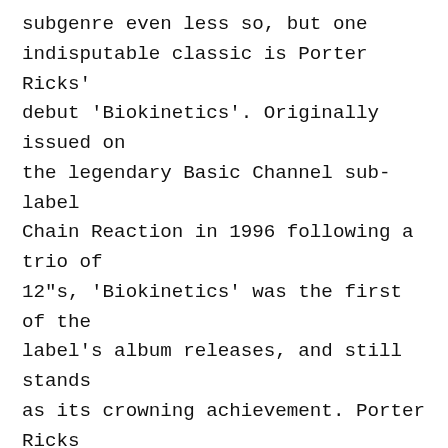subgenre even less so, but one indisputable classic is Porter Ricks' debut 'Biokinetics'. Originally issued on the legendary Basic Channel sub-label Chain Reaction in 1996 following a trio of 12"s, 'Biokinetics' was the first of the label's album releases, and still stands as its crowning achievement. Porter Ricks are Thomas Köner and Andy Mellwig, and between them they re-framed the techno sound, imbuing the spacious ambience pioneered by label bosses Mark Ernestus and Moritz Von Oswald with a frosty, isolated experimental bent, and combining it with the sort of haunted minimalism of